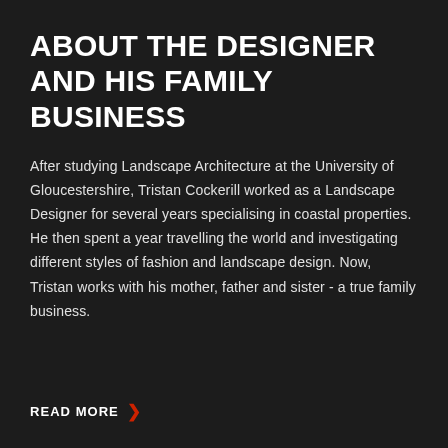ABOUT THE DESIGNER AND HIS FAMILY BUSINESS
After studying Landscape Architecture at the University of Gloucestershire, Tristan Cockerill worked as a Landscape Designer for several years specialising in coastal properties. He then spent a year travelling the world and investigating different styles of fashion and landscape design. Now, Tristan works with his mother, father and sister - a true family business.
READ MORE ›